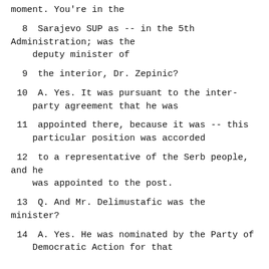moment.  You're in the
8        Sarajevo SUP as -- in the 5th Administration; was the deputy minister of
9        the interior, Dr. Zepinic?
10          A.   Yes.  It was pursuant to the inter-party agreement that he was
11        appointed there, because it was -- this particular position was accorded
12      to a representative of the Serb people, and he was appointed to the post.
13          Q.   And Mr. Delimustafic was the minister?
14          A.   Yes.  He was nominated by the Party of Democratic Action for that